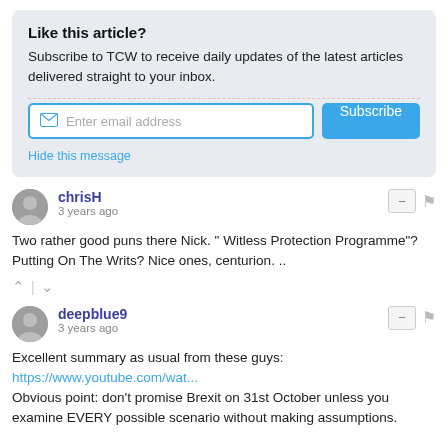Like this article?
Subscribe to TCW to receive daily updates of the latest articles delivered straight to your inbox.
Hide this message
chrisH
3 years ago
Two rather good puns there Nick. " Witless Protection Programme"? Putting On The Writs? Nice ones, centurion. ..
deepblue9
3 years ago
Excellent summary as usual from these guys:
https://www.youtube.com/wat...
Obvious point: don't promise Brexit on 31st October unless you examine EVERY possible scenario without making assumptions.